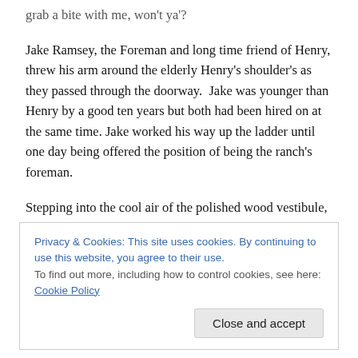grab a bite with me, won't ya'?
Jake Ramsey, the Foreman and long time friend of Henry, threw his arm around the elderly Henry's shoulder's as they passed through the doorway.  Jake was younger than Henry by a good ten years but both had been hired on at the same time. Jake worked his way up the ladder until one day being offered the position of being the ranch's foreman.
Stepping into the cool air of the polished wood vestibule, Henry handed Jake the telegram he had been sent to retrieve. Taking it, Jakes face became grim as he saw that the paper the telegram
Privacy & Cookies: This site uses cookies. By continuing to use this website, you agree to their use.
To find out more, including how to control cookies, see here: Cookie Policy
Close and accept
“I’ll read this latter, I don’t want to spoil a good dinner.”